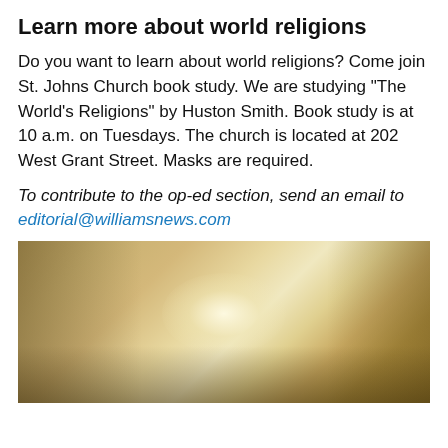Learn more about world religions
Do you want to learn about world religions? Come join St. Johns Church book study. We are studying "The World's Religions" by Huston Smith. Book study is at 10 a.m. on Tuesdays. The church is located at 202 West Grant Street. Masks are required.
To contribute to the op-ed section, send an email to editorial@williamsnews.com
[Figure (photo): A blurry golden-toned photograph, likely showing a person or religious figure with a bright central glow against a warm amber/golden background.]